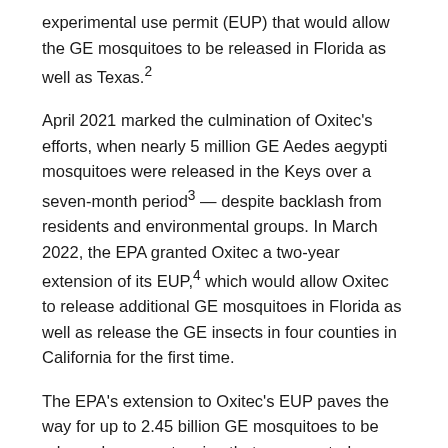experimental use permit (EUP) that would allow the GE mosquitoes to be released in Florida as well as Texas.²
April 2021 marked the culmination of Oxitec's efforts, when nearly 5 million GE Aedes aegypti mosquitoes were released in the Keys over a seven-month period³ — despite backlash from residents and environmental groups. In March 2022, the EPA granted Oxitec a two-year extension of its EUP,⁴ which would allow Oxitec to release additional GE mosquitoes in Florida as well as release the GE insects in four counties in California for the first time.
The EPA's extension to Oxitec's EUP paves the way for up to 2.45 billion GE mosquitoes to be released — an extension that was granted even before Oxitec had publicly released results from its 2021 field trial release in Florida.⁵
What Are GE Mosquitoes?